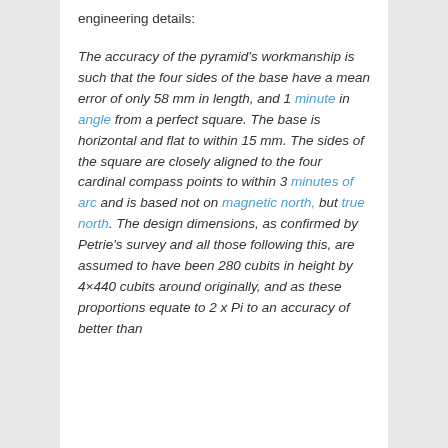engineering details:
The accuracy of the pyramid's workmanship is such that the four sides of the base have a mean error of only 58 mm in length, and 1 minute in angle from a perfect square. The base is horizontal and flat to within 15 mm. The sides of the square are closely aligned to the four cardinal compass points to within 3 minutes of arc and is based not on magnetic north, but true north. The design dimensions, as confirmed by Petrie's survey and all those following this, are assumed to have been 280 cubits in height by 4×440 cubits around originally, and as these proportions equate to 2 x Pi to an accuracy of better than